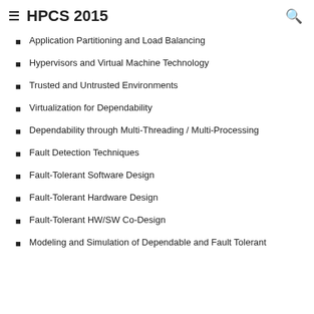HPCS 2015
Application Partitioning and Load Balancing
Hypervisors and Virtual Machine Technology
Trusted and Untrusted Environments
Virtualization for Dependability
Dependability through Multi-Threading / Multi-Processing
Fault Detection Techniques
Fault-Tolerant Software Design
Fault-Tolerant Hardware Design
Fault-Tolerant HW/SW Co-Design
Modeling and Simulation of Dependable and Fault Tolerant